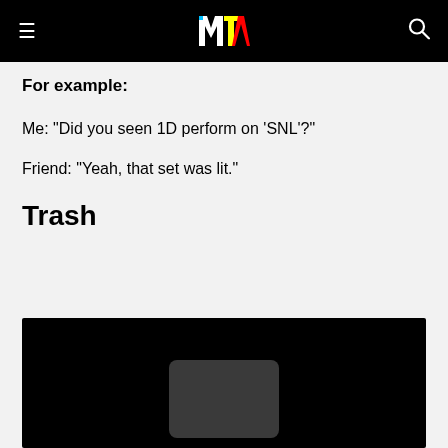MTV
For example:
Me: "Did you seen 1D perform on 'SNL'?"
Friend: "Yeah, that set was lit."
Trash
[Figure (other): Dark video embed placeholder with rounded rectangle overlay at bottom center]